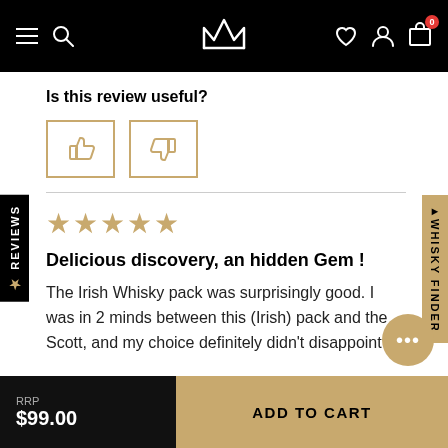Navigation bar with menu, search, logo, wishlist, account, cart (0)
Is this review useful?
[Figure (illustration): Thumbs up and thumbs down buttons with gold borders]
★★★★★
Delicious discovery, an hidden Gem !
The Irish Whisky pack was surprisingly good. I was in 2 minds between this (Irish) pack and the Scott, and my choice definitely didn't disappoint !!
RRP $99.00  ADD TO CART